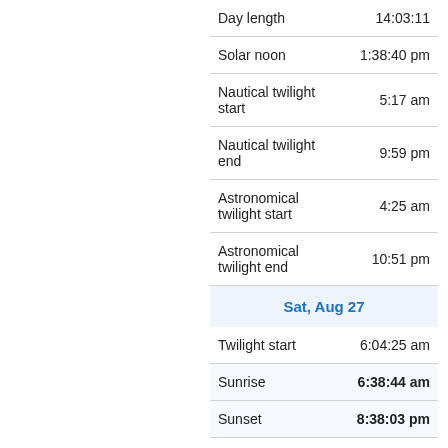|  |  |
| --- | --- |
| Day length | 14:03:11 |
| Solar noon | 1:38:40 pm |
| Nautical twilight start | 5:17 am |
| Nautical twilight end | 9:59 pm |
| Astronomical twilight start | 4:25 am |
| Astronomical twilight end | 10:51 pm |
| Sat, Aug 27 |  |
| Twilight start | 6:04:25 am |
| Sunrise | 6:38:44 am |
| Sunset | 8:38:03 pm |